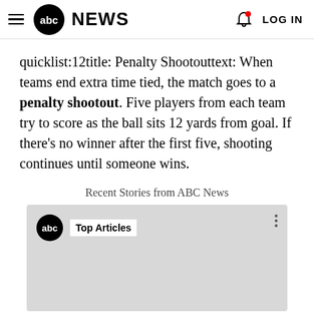abc NEWS  LOG IN
quicklist:12title: Penalty Shootouttext: When teams end extra time tied, the match goes to a penalty shootout. Five players from each team try to score as the ball sits 12 yards from goal. If there's no winner after the first five, shooting continues until someone wins.
Recent Stories from ABC News
[Figure (screenshot): ABC News video card showing 'abc Top Articles' with three-dot menu icon on a grey background]